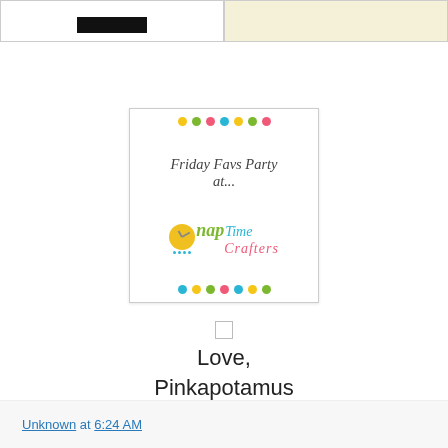[Figure (photo): Two partial images at top: left shows black rectangle on white, right shows cream/beige textured background]
[Figure (logo): Friday Favs Party at... Nap Time Crafters logo card with colorful dots border]
[Figure (other): Small checkbox/square placeholder]
Love,
Pinkapotamus
Unknown at 6:24 AM